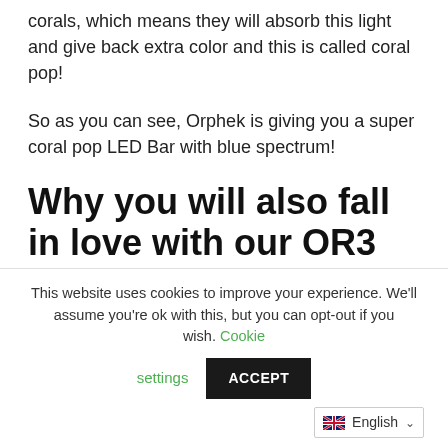corals, which means they will absorb this light and give back extra color and this is called coral pop!
So as you can see, Orphek is giving you a super coral pop LED Bar with blue spectrum!
Why you will also fall in love with our OR3 LED Blue Sky Bars
You can combine the OR3 Blue Sky LED Bars
This website uses cookies to improve your experience. We'll assume you're ok with this, but you can opt-out if you wish. Cookie settings ACCEPT English